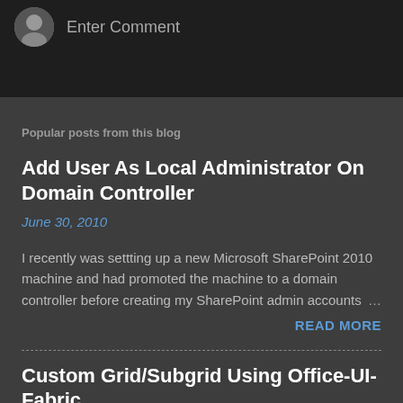[Figure (illustration): Avatar/profile image circle with Enter Comment text beside it on dark background]
Popular posts from this blog
Add User As Local Administrator On Domain Controller
June 30, 2010
I recently was settting up a new Microsoft SharePoint 2010 machine and had promoted the machine to a domain controller before creating my SharePoint admin accounts …
READ MORE
Custom Grid/Subgrid Using Office-UI-Fabric